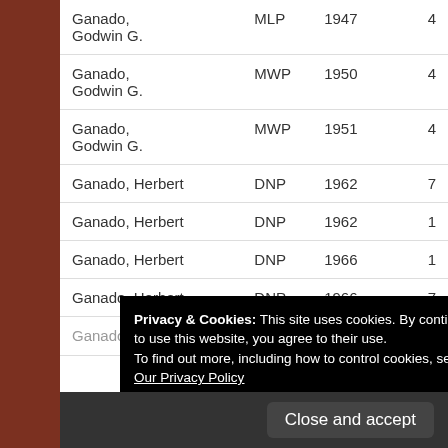| Name | Party | Year | # |
| --- | --- | --- | --- |
| Ganado, Godwin G. | MLP | 1947 | 4 |
| Ganado, Godwin G. | MWP | 1950 | 4 |
| Ganado, Godwin G. | MWP | 1951 | 4 |
| Ganado, Herbert | DNP | 1962 | 7 |
| Ganado, Herbert | DNP | 1962 | 1 |
| Ganado, Herbert | DNP | 1966 | 1 |
| Ganado, Herbert | DNP | 1966 | 7 |
| Ganado, Mary | MLP | 1953 | 4 |
| Ganado, Tonio | PN | 1981 | 10 |
Privacy & Cookies: This site uses cookies. By continuing to use this website, you agree to their use.
To find out more, including how to control cookies, see here: Our Privacy Policy